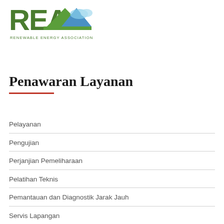[Figure (logo): REA Renewable Energy Association logo with green triangle/mountain and sky imagery, text 'RENEWABLE ENERGY ASSOCIATION' below]
Penawaran Layanan
Pelayanan
Pengujian
Perjanjian Pemeliharaan
Pelatihan Teknis
Pemantauan dan Diagnostik Jarak Jauh
Servis Lapangan
Suku Cadang